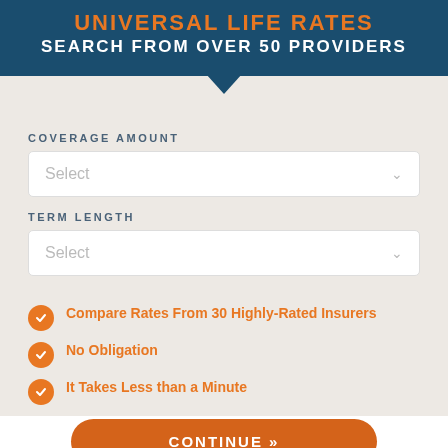UNIVERSAL LIFE RATES SEARCH FROM OVER 50 PROVIDERS
COVERAGE AMOUNT
Select
TERM LENGTH
Select
Compare Rates From 30 Highly-Rated Insurers
No Obligation
It Takes Less than a Minute
CONTINUE »